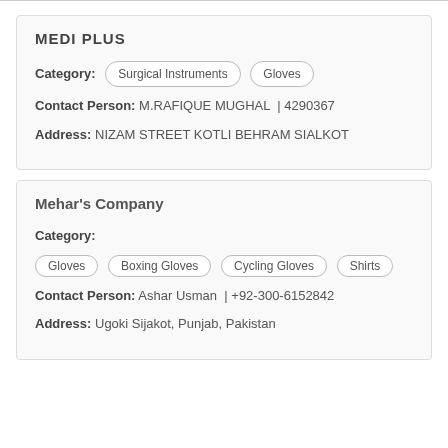MEDI PLUS
Category: Surgical Instruments  Gloves
Contact Person: M.RAFIQUE MUGHAL  | 4290367
Address: NIZAM STREET KOTLI BEHRAM SIALKOT
Mehar's Company
Category:
Gloves  Boxing Gloves  Cycling Gloves  Shirts
Contact Person: Ashar Usman  | +92-300-6152842
Address: Ugoki Sijakot, Punjab, Pakistan